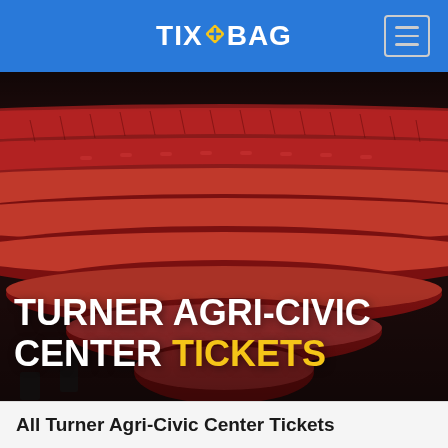TIXOBAG
[Figure (photo): Interior of a theatre or auditorium showing curved rows of empty red upholstered seats arranged in a semicircular pattern, viewed from the stage side looking up toward the back.]
TURNER AGRI-CIVIC CENTER TICKETS
All Turner Agri-Civic Center Tickets